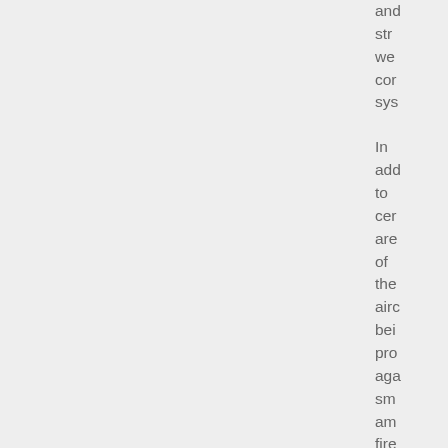and stra we cor sys In add to cer are of the airc bei pro aga sm am fire the Mo is equ wit